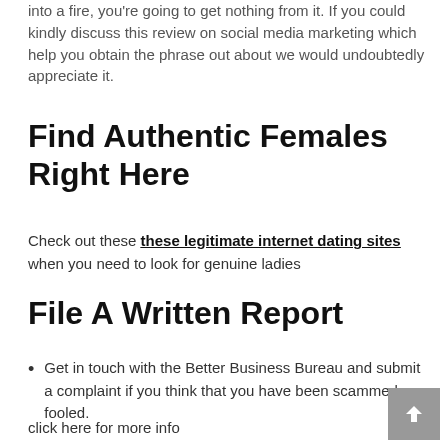into a fire, you're going to get nothing from it. If you could kindly discuss this review on social media marketing which help you obtain the phrase out about we would undoubtedly appreciate it.
Find Authentic Females Right Here
Check out these these legitimate internet dating sites when you need to look for genuine ladies
File A Written Report
Get in touch with the Better Business Bureau and submit a complaint if you think that you have been scammed or fooled.
click here for more info